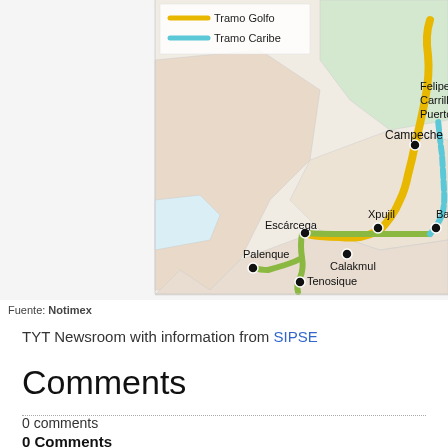[Figure (map): Partial map of Mexico showing train route with legend. Legend shows: Tramo Golfo (yellow/gold line) and Tramo Caribe (light blue line). Cities labeled: Campeche, Felipe Carrillo Puerto, Escárcega, Xpujil, Bacalar (partially visible as 'Bac'), Calakmul, Palenque, Tenosique. A green route line connects Palenque through Tenosique and Escárcega, while yellow continues north to Campeche and blue continues east toward Felipe Carrillo Puerto. Map shows regional territory outlines in beige/tan.]
Fuente: Notimex
TYT Newsroom with information from SIPSE
Comments
0 comments
0 Comments